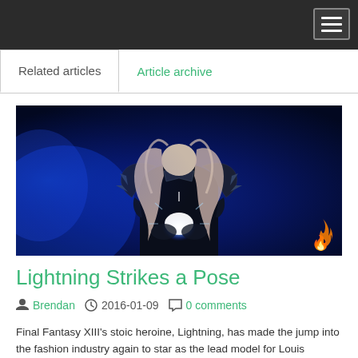Related articles | Article archive
[Figure (illustration): Dark fantasy game character Lightning from Final Fantasy XIII in armor, crouching with glowing blue light energy emanating from her hands, long silver-pink hair, blue ethereal background lighting, small flame logo watermark in bottom right corner]
Lightning Strikes a Pose
Brendan   2016-01-09   0 comments
Final Fantasy XIII's stoic heroine, Lightning, has made the jump into the fashion industry again to star as the lead model for Louis Vuitton's Series 4 Spring-Summer 2016 campaign. The character